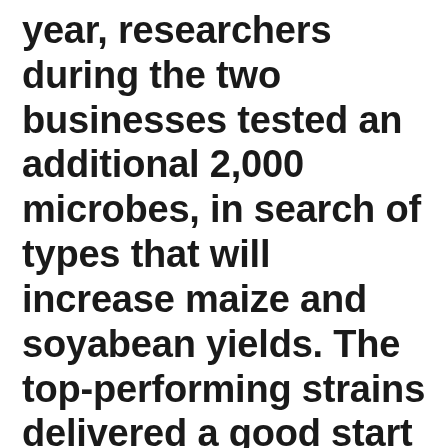year, researchers during the two businesses tested an additional 2,000 microbes, in search of types that will increase maize and soyabean yields. The top-performing strains delivered a good start of approximately 3% for both crops.In November 2015 Syngenta and DSM, a Dutch business, formed a comparable partnership. And earlier that year, in April